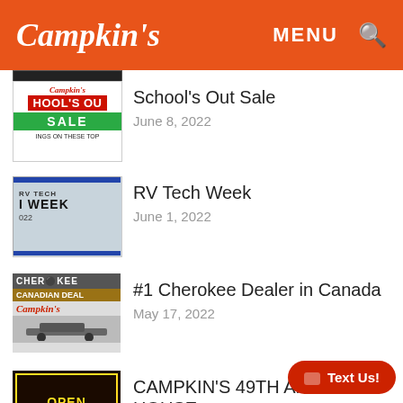Campkin's  MENU 🔍
[Figure (screenshot): Partially visible dark image at top of content area]
[Figure (screenshot): School's Out Sale promotional thumbnail with red, green and white design]
School's Out Sale
June 8, 2022
[Figure (screenshot): RV Tech Week thumbnail with blue borders and grey background]
RV Tech Week
June 1, 2022
[Figure (screenshot): Cherokee Canadian Dealer thumbnail with Campkin's branding and RV silhouette]
#1 Cherokee Dealer in Canada
May 17, 2022
[Figure (screenshot): Open House promotional thumbnail with yellow text on dark background]
CAMPKIN'S 49TH ANNUAL OPEN HOUSE
[Figure (other): Red rounded Text Us! button with chat icon in bottom right corner]